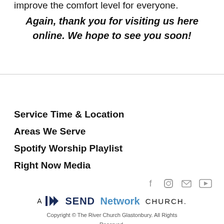improve the comfort level for everyone.
Again, thank you for visiting us here online. We hope to see you soon!
Service Time & Location
Areas We Serve
Spotify Worship Playlist
Right Now Media
[Figure (other): Social media icons: Facebook, Instagram, Email, YouTube]
[Figure (logo): A SEND Network CHURCH. logo]
Copyright © The River Church Glastonbury. All Rights Reserved.